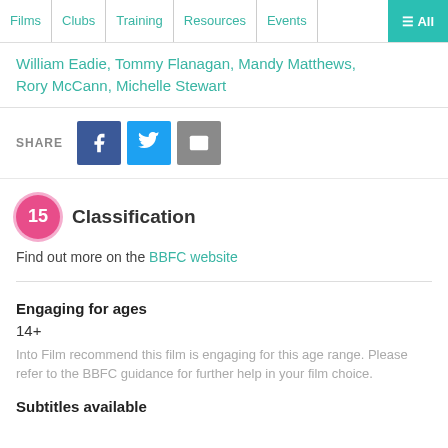Films | Clubs | Training | Resources | Events | ≡ All
William Eadie, Tommy Flanagan, Mandy Matthews, Rory McCann, Michelle Stewart
SHARE
Classification
Find out more on the BBFC website
Engaging for ages
14+
Into Film recommend this film is engaging for this age range. Please refer to the BBFC guidance for further help in your film choice.
Subtitles available